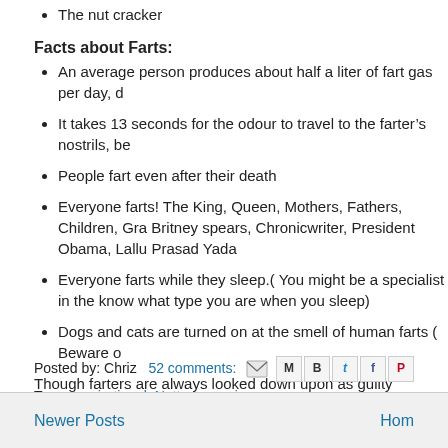The nut cracker
Facts about Farts:
An average person produces about half a liter of fart gas per day, d
It takes 13 seconds for the odour to travel to the farter's nostrils, be
People fart even after their death
Everyone farts! The King, Queen, Mothers, Fathers, Children, Gra Britney spears, Chronicwriter, President Obama, Lallu Prasad Yada
Everyone farts while they sleep.( You might be a specialist in the know what type you are when you sleep)
Dogs and cats are turned on at the smell of human farts ( Beware o
Though farters are always looked down upon as guilty murderers, it is t in. Do not hold it up very longer. Just let it go.
-Chronicwriter
Posted by: Chriz   52 comments:
Tags: Inspirational, Nutty memories
Newer Posts